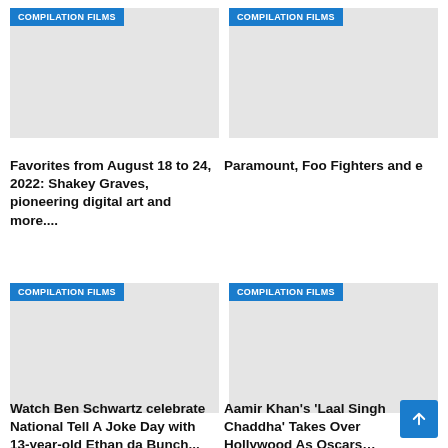[Figure (photo): Placeholder image with blue COMPILATION FILMS badge, top-left card]
[Figure (photo): Placeholder image with blue COMPILATION FILMS badge, top-right card]
Favorites from August 18 to 24, 2022: Shakey Graves, pioneering digital art and more....
Paramount, Foo Fighters and e
[Figure (photo): Placeholder image with blue COMPILATION FILMS badge, bottom-left card]
[Figure (photo): Placeholder image with blue COMPILATION FILMS badge, bottom-right card]
Watch Ben Schwartz celebrate National Tell A Joke Day with 13-year-old Ethan da Bunch...
Aamir Khan's 'Laal Singh Chaddha' Takes Over Hollywood As Oscars…